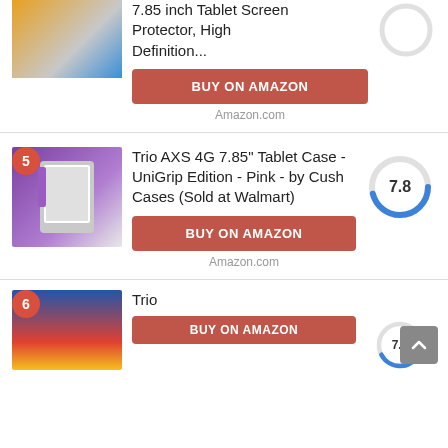[Figure (screenshot): Product image for screen protector item (partial, top of page)]
7.85 inch Tablet Screen Protector, High Definition...
BUY ON AMAZON
Amazon.com
[Figure (donut-chart): Score circle showing partial rating, no number visible]
[Figure (screenshot): Product image for Trio AXS 4G tablet case - pink, item #5]
Trio AXS 4G 7.85" Tablet Case - UniGrip Edition - Pink - by Cush Cases (Sold at Walmart)
BUY ON AMAZON
Amazon.com
[Figure (donut-chart): Donut chart showing score 7.8 in blue arc]
[Figure (screenshot): Product image for Trio item #6]
Trio
BUY ON AMAZON
[Figure (donut-chart): Donut chart showing score 7.6 in blue arc]